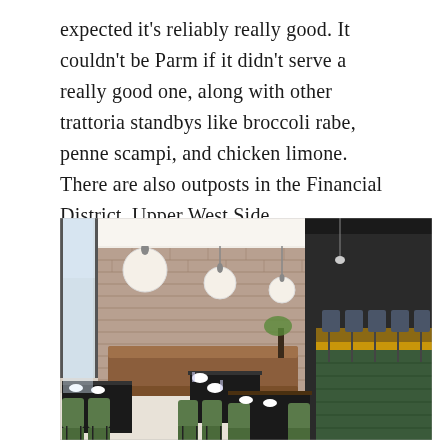expected it's reliably really good. It couldn't be Parm if it didn't serve a really good one, along with other trattoria standbys like broccoli rabe, penne scampi, and chicken limone. There are also outposts in the Financial District, Upper West Side, Williamsburg, and at Yankee Stadium.
[Figure (photo): Interior of a modern restaurant showing dining tables with dark tops and olive green chairs, leather booth seating along a brick wall, pendant globe lights hanging from the ceiling, and a bar area on the right side with bar stools.]